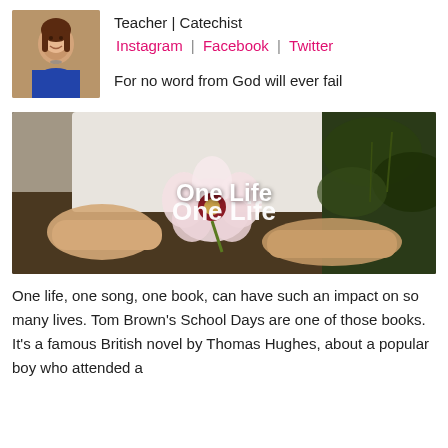[Figure (photo): Profile photo of a smiling woman with dark hair]
Teacher | Catechist
Instagram | Facebook | Twitter
For no word from God will ever fail
[Figure (photo): Close-up of hands holding a white and pink flower with text overlay 'One Life']
One life, one song, one book, can have such an impact on so many lives. Tom Brown's School Days are one of those books. It's a famous British novel by Thomas Hughes, about a popular boy who attended a